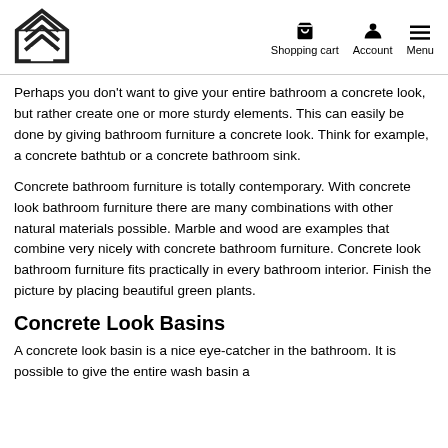Shopping cart  Account  Menu
Perhaps you don't want to give your entire bathroom a concrete look, but rather create one or more sturdy elements. This can easily be done by giving bathroom furniture a concrete look. Think for example, a concrete bathtub or a concrete bathroom sink.
Concrete bathroom furniture is totally contemporary. With concrete look bathroom furniture there are many combinations with other natural materials possible. Marble and wood are examples that combine very nicely with concrete bathroom furniture. Concrete look bathroom furniture fits practically in every bathroom interior. Finish the picture by placing beautiful green plants.
Concrete Look Basins
A concrete look basin is a nice eye-catcher in the bathroom. It is possible to give the entire wash basin a